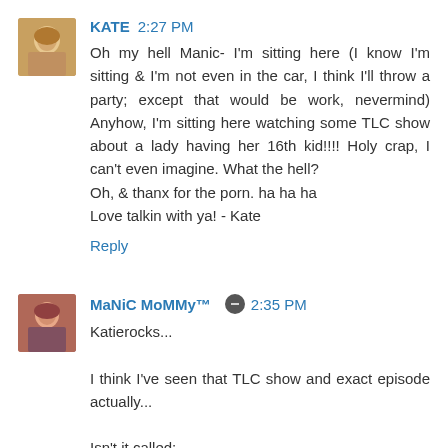KATE 2:27 PM
Oh my hell Manic- I'm sitting here (I know I'm sitting & I'm not even in the car, I think I'll throw a party; except that would be work, nevermind) Anyhow, I'm sitting here watching some TLC show about a lady having her 16th kid!!!! Holy crap, I can't even imagine. What the hell?
Oh, & thanx for the porn. ha ha ha
Love talkin with ya! - Kate
Reply
MaNiC MoMMy™ 2:35 PM
Katierocks...
I think I've seen that TLC show and exact episode actually...
Isn't it called: